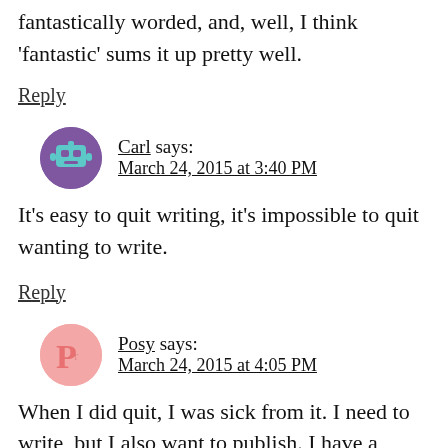fantastically worded, and, well, I think 'fantastic' sums it up pretty well.
Reply
Carl says: March 24, 2015 at 3:40 PM
It's easy to quit writing, it's impossible to quit wanting to write.
Reply
Posy says: March 24, 2015 at 4:05 PM
When I did quit, I was sick from it. I need to write, but I also want to publish. I have a